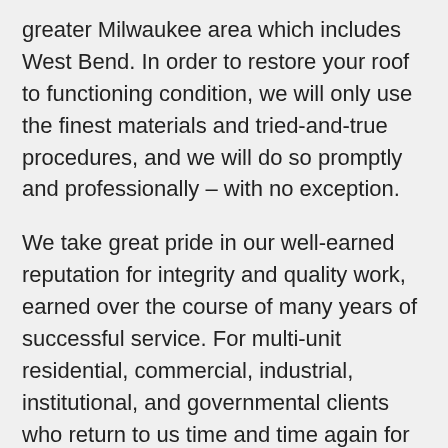greater Milwaukee area which includes West Bend. In order to restore your roof to functioning condition, we will only use the finest materials and tried-and-true procedures, and we will do so promptly and professionally – with no exception.
We take great pride in our well-earned reputation for integrity and quality work, earned over the course of many years of successful service. For multi-unit residential, commercial, industrial, institutional, and governmental clients who return to us time and time again for all their roofing and roof repair wants, this is a major factor.
EPDM, TPO, metal, and single-ply systems are just a few of the roofing materials we are in...